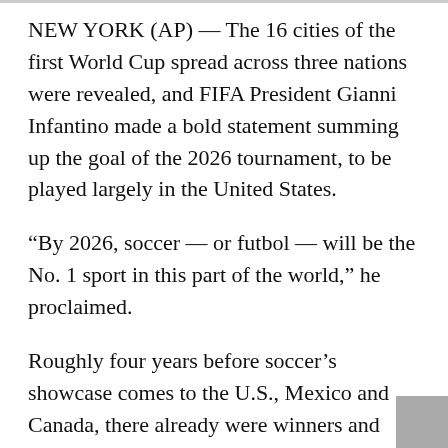NEW YORK (AP) — The 16 cities of the first World Cup spread across three nations were revealed, and FIFA President Gianni Infantino made a bold statement summing up the goal of the 2026 tournament, to be played largely in the United States.
“By 2026, soccer — or futbol — will be the No. 1 sport in this part of the world,” he proclaimed.
Roughly four years before soccer’s showcase comes to the U.S., Mexico and Canada, there already were winners and losers Thursday: Atlanta, Houston, Miami, Philadelphia, Seattle and Kansas City, Missouri, were among the cities picked after missing out on hosting the 1994 tournament